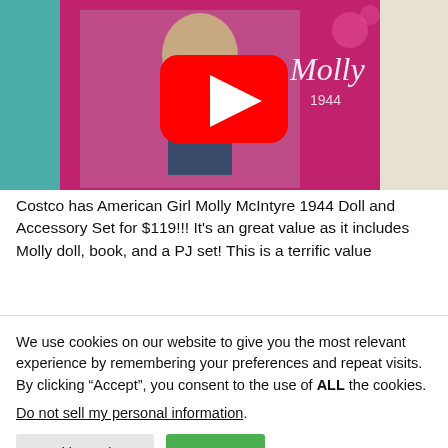[Figure (screenshot): YouTube video thumbnail showing an American Girl Molly McIntyre 1944 doll in its product box with a pink/purple background, with a YouTube play button overlay in the center.]
Costco has American Girl Molly McIntyre 1944 Doll and Accessory Set for $119!!! It's an great value as it includes Molly doll, book, and a PJ set!  This is a terrific value
We use cookies on our website to give you the most relevant experience by remembering your preferences and repeat visits. By clicking “Accept”, you consent to the use of ALL the cookies.
Do not sell my personal information.